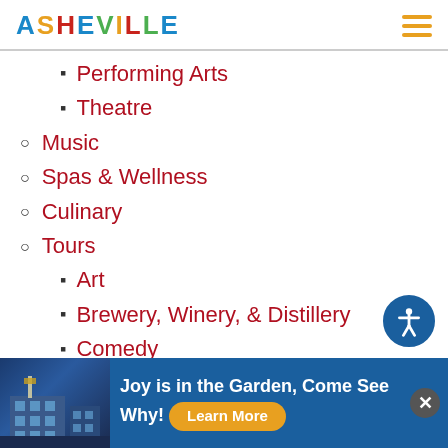ASHEVILLE
Performing Arts
Theatre
Music
Spas & Wellness
Culinary
Tours
Art
Brewery, Winery, & Distillery
Comedy
Concierge Services
Culinary
Joy is in the Garden, Come See Why! Learn More